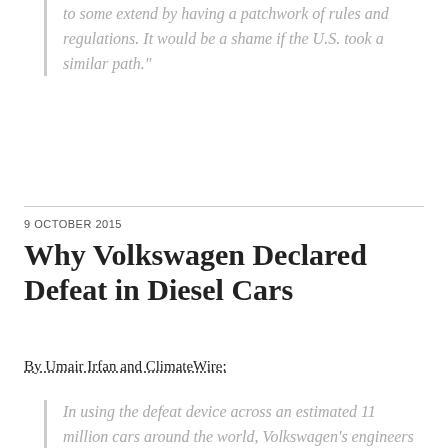to some extend by having a patchwork of rules and regulations. It would be a shame if the U.S. took a similar path."
9 OCTOBER 2015
Why Volkswagen Declared Defeat in Diesel Cars
By Umair Irfan and ClimateWire:
In using the defeat device across an estimated 11 million cars around the world, Volkswagen's engineers signaled their own defeat in the contest to make diesel a viable alternative for American